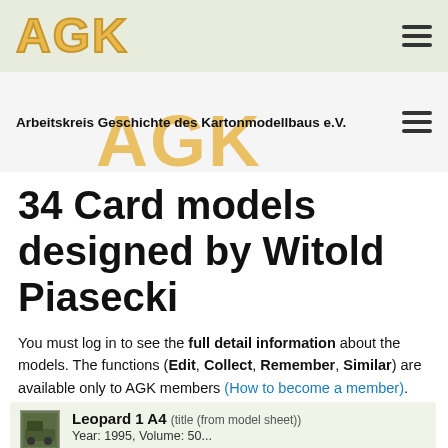AGK
Arbeitskreis Geschichte des Kartonmodellbaus e.V.
34 Card models designed by Witold Piasecki
You must log in to see the full detail information about the models. The functions (Edit, Collect, Remember, Similar) are available only to AGK members (How to become a member).
Leopard 1 A4 (title (from model sheet))